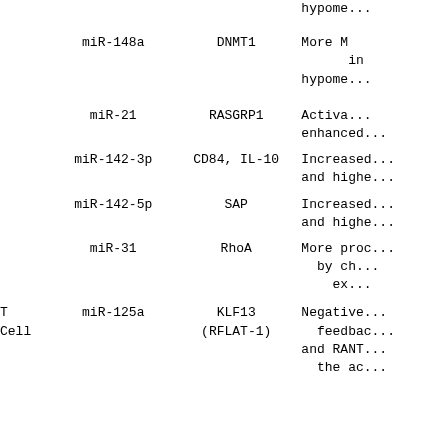| Cell Type | miRNA | Target | Effect |
| --- | --- | --- | --- |
|  |  |  | hypome... |
|  | miR-148a | DNMT1 | More h...
  in...
hypome... |
|  | miR-21 | RASGRP1 | Activa...
enhanced... |
|  | miR-142-3p | CD84, IL-10 | Increased...
and highe... |
|  | miR-142-5p | SAP | Increased...
and highe... |
|  | miR-31 | RhoA | More proc...
 by ch...
 ex... |
| T
Cell | miR-125a | KLF13
(RFLAT-1) | Negative...
 feedbac...
and RANT...
 the ac... |